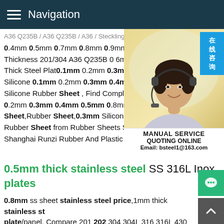Navigation
0.4mm 0.5mm 0.7mm 0.8mm 0.9mm 1.0mm Thickness 201/304 A36 Q235B 0 6mm 0 8mm Thick Steel Plate 0.1mm 0.2mm 0.3mm 0.4mm Silicone 0.1mm 0.2mm 0.3mm 0.4mm 0.5mm Silicone Rubber Sheet, Find Complete Details 0.2mm 0.3mm 0.4mm 0.5mm 0.8mm Thin Sheet, Rubber Sheet, 0.3mm Silicone Rubber Sheet from Rubber Sheets Supplier Shanghai Runzi Rubber And Plastic Co., Ltd.
[Figure (photo): Customer service representative wearing a headset, with a blue online consultation badge (在线咨询) and service info panel showing MANUAL SERVICE, QUOTING ONLINE, Email: bsteel1@163.com]
0.5mm thick stainless steel SS 316L Inox plates
0.8mm ss sheet stainless steel price, 1mm thick stainless steel plate/panel. Compare 201 202 304 304L 316 316L 430 1mm thick stainless steel sheet prices 0.3mm 0.5mm 0.8mm 1mm thick stainless steel sheet price. Buying in large quantity Low Price